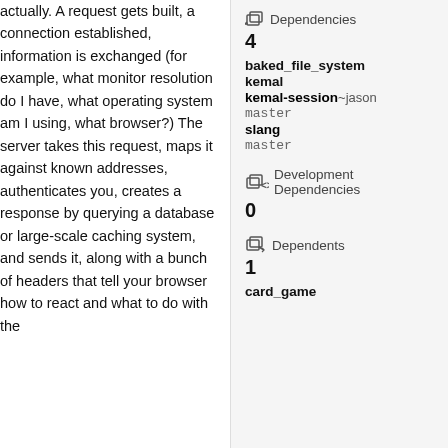actually. A request gets built, a connection established, information is exchanged (for example, what monitor resolution do I have, what operating system am I using, what browser?) The server takes this request, maps it against known addresses, authenticates you, creates a response by querying a database or large-scale caching system, and sends it, along with a bunch of headers that tell your browser how to react and what to do with the
Dependencies 4
baked_file_system
kemal
kemal-session ~jason master
slang master
Development Dependencies 0
Dependents 1
card_game